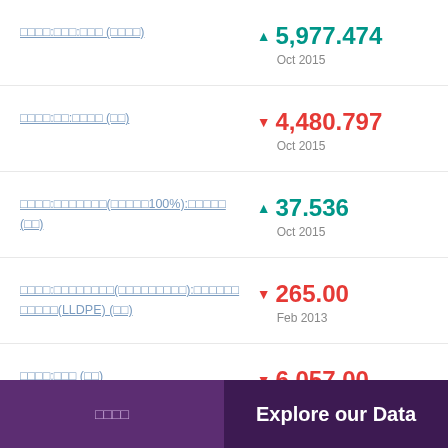▲ 5,977.474 Oct 2015
▼ 4,480.797 Oct 2015
▲ 37.536 Oct 2015
▼ 265.00 Feb 2013
▼ 6,057.00 Oct 2015
□□□□    Explore our Data